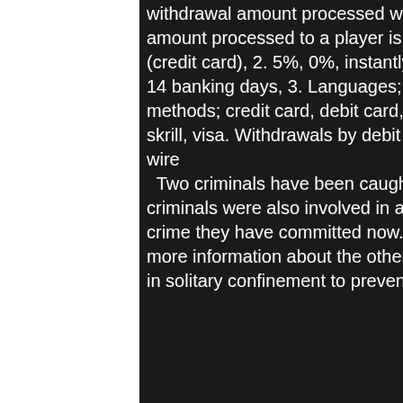withdrawal amount processed with wire transfer is 100€/$/ £. Maximum withdrawal amount processed to a player is 7500 €/$/ . Why use bitcoin at bitstarz casino? ; visa (credit card), 2. 5%, 0%, instantly, 1 – 3 banking days ; rapid transfer, 0%, 0%, 3 – 14 banking days, 3. Languages; english, russian, chinese, japanese; deposit methods; credit card, debit card, bank transfer, cryptocurrency, mastercard, neteller, skrill, visa. Withdrawals by debit cards, credit cards, bank transfers, and via sofort wire
Two criminals have been caught by cops recently. It comes to their notice that the criminals were also involved in another crime which was far more serious than the crime they have committed now. The cops decide to interrogate them and find out more information about the other crime that they had done. Both criminals are kept in solitary confinement to prevent them from interacting with each other.
[Figure (photo): Photo showing gym or exercise equipment with brown/dark padding, metal frame, visible on the right side of the page]